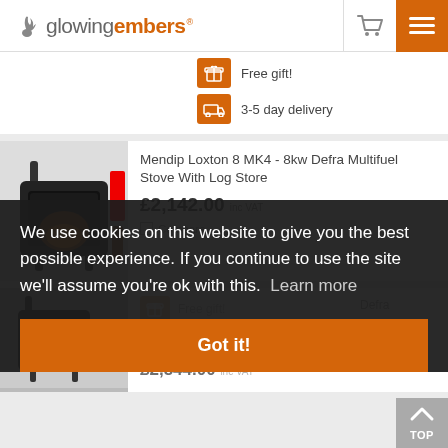glowing embers
[Figure (screenshot): Orange gift icon badge with 'Free gift!' text]
[Figure (screenshot): Orange delivery truck icon badge with '3-5 day delivery' text]
Mendip Loxton 8 MK4 - 8kw Defra Multifuel Stove With Log Store
£2,142.00 inc VAT
Compare
[Figure (screenshot): Orange gift icon badge with 'Free gift!' text (second product)]
[Figure (screenshot): Orange delivery truck badge with '3-5 day delivery' text (second product)]
Defra
£2,544.00 inc VAT
We use cookies on this website to give you the best possible experience. If you continue to use the site we'll assume you're ok with this.  Learn more
Got it!